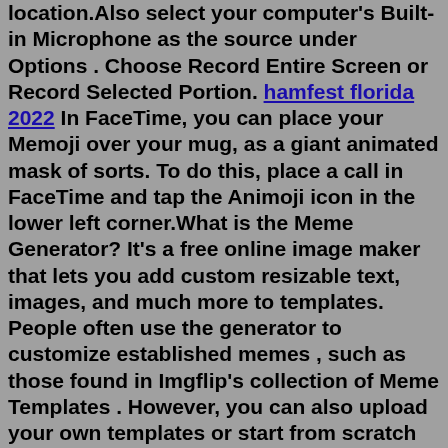location.Also select your computer's Built-in Microphone as the source under Options . Choose Record Entire Screen or Record Selected Portion. hamfest florida 2022 In FaceTime, you can place your Memoji over your mug, as a giant animated mask of sorts. To do this, place a call in FaceTime and tap the Animoji icon in the lower left corner.What is the Meme Generator? It's a free online image maker that lets you add custom resizable text, images, and much more to templates. People often use the generator to customize established memes , such as those found in Imgflip's collection of Meme Templates . However, you can also upload your own templates or start from scratch with empty ... Check out Lifetime's shows lineup.Find show info, videos, and exclusive content on Lifetime.lifetime announces three new movies with all-star casting premiering for winter 2022 single black female featuring amber riley, raven goodwin and k. michelle line sisters starring letoya luckett, kierra sheard-kelly, ta'rhonda jones and drew sidora and vanished: searching for my sister. What does the